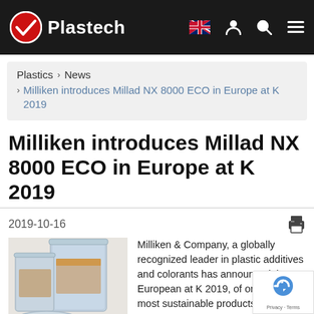Plastech
Plastics › News › Milliken introduces Millad NX 8000 ECO in Europe at K 2019
Milliken introduces Millad NX 8000 ECO in Europe at K 2019
2019-10-16
[Figure (photo): Clear plastic food storage containers of various sizes]
Milliken & Company, a globally recognized leader in plastic additives and colorants has announced the European at K 2019, of one of its most sustainable products yet Millad